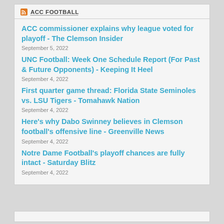ACC FOOTBALL
ACC commissioner explains why league voted for playoff - The Clemson Insider
September 5, 2022
UNC Football: Week One Schedule Report (For Past & Future Opponents) - Keeping It Heel
September 4, 2022
First quarter game thread: Florida State Seminoles vs. LSU Tigers - Tomahawk Nation
September 4, 2022
Here's why Dabo Swinney believes in Clemson football's offensive line - Greenville News
September 4, 2022
Notre Dame Football's playoff chances are fully intact - Saturday Blitz
September 4, 2022